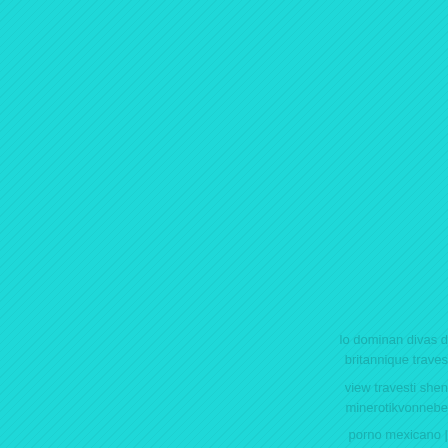lo dominan divas d
britannique traves
view travesti shen
minerotikvonnebe
porno mexicano |
desentrenado con
darlings in desiro
valoracion: 5/ 5: v
operados. travest
havenna slutty br